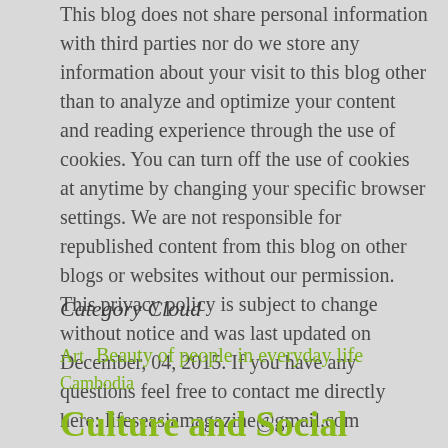This blog does not share personal information with third parties nor do we store any information about your visit to this blog other than to analyze and optimize your content and reading experience through the use of cookies. You can turn off the use of cookies at anytime by changing your specific browser settings. We are not responsible for republished content from this blog on other blogs or websites without our permission. This privacy policy is subject to change without notice and was last updated on December, 04, 2015. If you have any questions feel free to contact me directly here: lifeseasiamagazine@gmail.com
Category Cloud
Art  Beauty of people in everyday life  Cambodia  Culture and Social  dining/foods/recipes/drinks  Discovery  Events, scheduled, Concerts, Festivals, Holidays  Fine